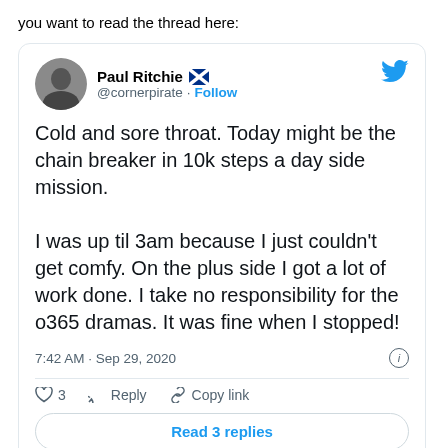you want to read the thread here:
[Figure (screenshot): Embedded tweet from @cornerpirate (Paul Ritchie) with Scottish flag emoji. Tweet reads: 'Cold and sore throat. Today might be the chain breaker in 10k steps a day side mission. I was up til 3am because I just couldn't get comfy. On the plus side I got a lot of work done. I take no responsibility for the o365 dramas. It was fine when I stopped!' Posted at 7:42 AM · Sep 29, 2020. Shows 3 likes, Reply and Copy link actions, and a 'Read 3 replies' button.]